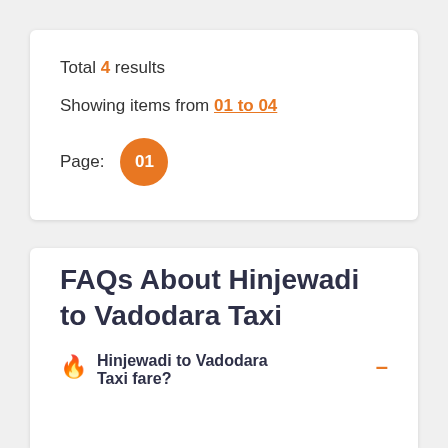Total 4 results
Showing items from 01 to 04
Page: 01
FAQs About Hinjewadi to Vadodara Taxi
Hinjewadi to Vadodara Taxi fare?